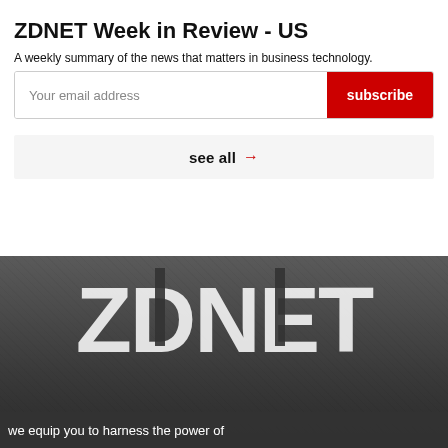ZDNET Week in Review - US
A weekly summary of the news that matters in business technology.
Your email address
subscribe
see all →
[Figure (photo): Grayscale background image with large ZDNET logo text overlay and partial text reading 'we equip you to harness the power of' at the bottom]